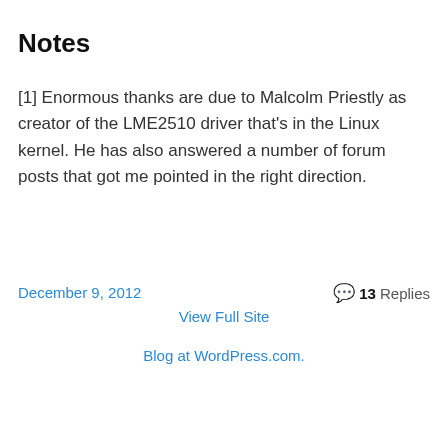Notes
[1] Enormous thanks are due to Malcolm Priestly as creator of the LME2510 driver that's in the Linux kernel. He has also answered a number of forum posts that got me pointed in the right direction.
December 9, 2012    💬 13 Replies
View Full Site
Blog at WordPress.com.